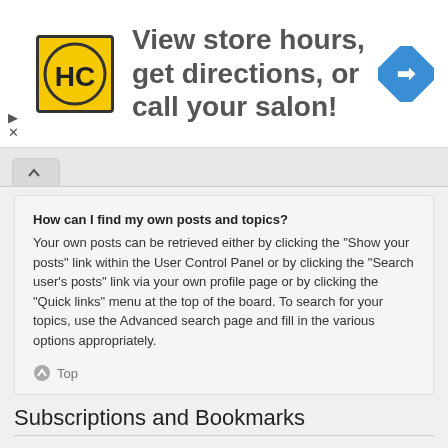[Figure (illustration): Advertisement banner with HC logo, text 'View store hours, get directions, or call your salon!' and a blue navigation arrow icon. Small play and close controls on the left.]
How can I find my own posts and topics?
Your own posts can be retrieved either by clicking the "Show your posts" link within the User Control Panel or by clicking the "Search user's posts" link via your own profile page or by clicking the "Quick links" menu at the top of the board. To search for your topics, use the Advanced search page and fill in the various options appropriately.
Top
Subscriptions and Bookmarks
What is the difference between bookmarking and subscribing?
In phpBB 3.0, bookmarking topics worked much like bookmarking in a web browser. You were not alerted when there was an update. As of phpBB 3.1, bookmarking is more like subscribing to a topic. You can be notified when a bookmarked topic is updated. Subscribing, however, will notify you when